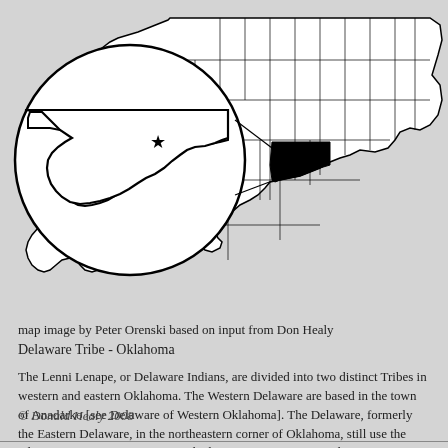[Figure (map): Map showing Oklahoma highlighted in black on a US map outline, with a circular inset enlarging the state of Oklahoma showing a star marker in the central-western area.]
map image by Peter Orenski based on input from Don Healy
Delaware Tribe - Oklahoma
The Lenni Lenape, or Delaware Indians, are divided into two distinct Tribes in western and eastern Oklahoma. The Western Delaware are based in the town of Anadarko [see Delaware of Western Oklahoma]. The Delaware, formerly the Eastern Delaware, in the northeastern corner of Oklahoma, still use the Algonquin name Lenni Lenape which means "true men". Its three main divisions are the Unalactigo, the Unami, and the Munsee.
© Donald Healy 2008